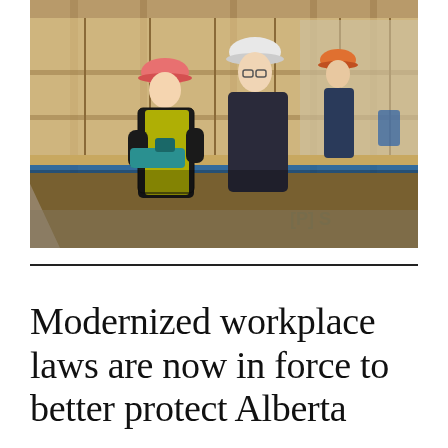[Figure (photo): Construction workers wearing hard hats (pink, white, orange) at an indoor building site. Two workers in the foreground examine a power tool on a plywood surface/workbench. Wood framing and studs visible in the background. Construction site interior.]
Modernized workplace laws are now in force to better protect Alberta